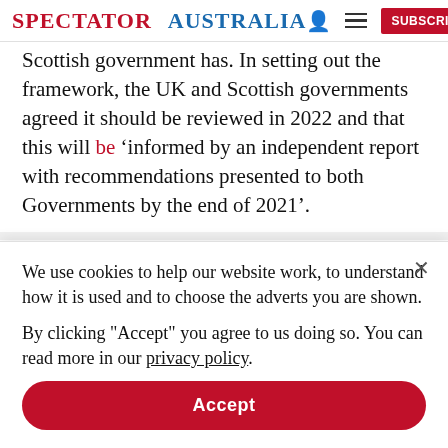SPECTATOR | AUSTRALIA [Subscribe button]
Scottish government has. In setting out the framework, the UK and Scottish governments agreed it should be reviewed in 2022 and that this will be ‘informed by an independent report with recommendations presented to both Governments by the end of 2021’.
We use cookies to help our website work, to understand how it is used and to choose the adverts you are shown.

By clicking "Accept" you agree to us doing so. You can read more in our privacy policy.
Accept